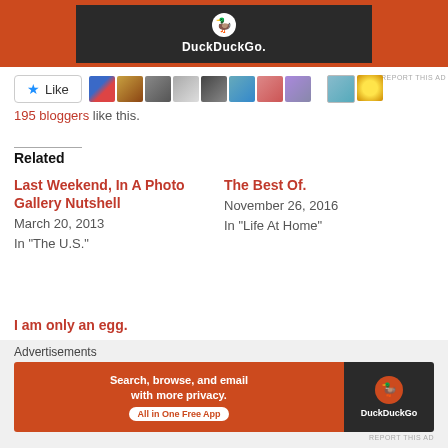[Figure (screenshot): DuckDuckGo advertisement banner at top of page with orange background and dark screen showing DuckDuckGo logo and name]
[Figure (screenshot): Like button with star icon followed by a strip of blogger avatar thumbnails]
195 bloggers like this.
Related
Last Weekend, In A Photo Gallery Nutshell
March 20, 2013
In "The U.S."
The Best Of.
November 26, 2016
In "Life At Home"
I am only an egg.
December 28, 2012
In "Life At Home"
Advertisements
[Figure (screenshot): DuckDuckGo advertisement banner: 'Search, browse, and email with more privacy. All in One Free App' with DuckDuckGo logo on dark right panel]